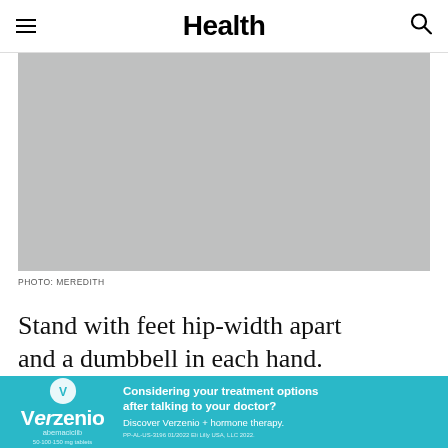Health
[Figure (photo): Gray placeholder image for a fitness/exercise photo]
PHOTO: MEREDITH
Stand with feet hip-width apart and a dumbbell in each hand. Bend your knees, hinge at the
[Figure (other): Verzenio (abemaciclib) advertisement banner. Text: Considering your treatment options after talking to your doctor? Discover Verzenio + hormone therapy. PP-AL-US-3196 01/2022 Eli Lilly USA, LLC 2022.]